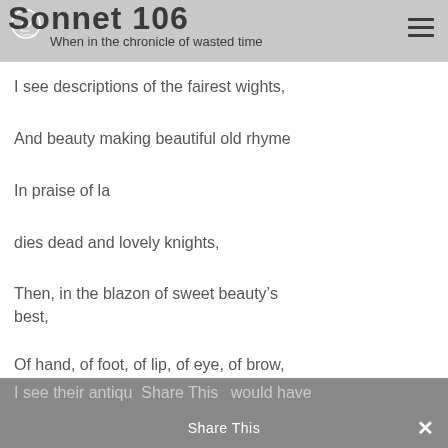Sonnet 106 — When in the chronicle of wasted time
I see descriptions of the fairest wights,
And beauty making beautiful old rhyme
In praise of la
dies dead and lovely knights,
Then, in the blazon of sweet beauty's best,
Of hand, of foot, of lip, of eye, of brow,
Share This
I see their antique pen would have